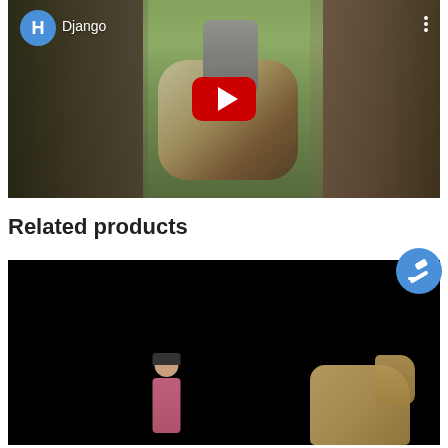[Figure (screenshot): YouTube video thumbnail showing a person riding a paint horse in a green pasture. Channel avatar 'H' and channel name 'Django' shown in top left. Three-dot menu in top right. Red YouTube play button centered.]
Related products
[Figure (screenshot): Dark/black video thumbnail showing a person in pink clothing and a horse visible at bottom right. Blue auction/gavel badge icon in top right corner of the thumbnail.]